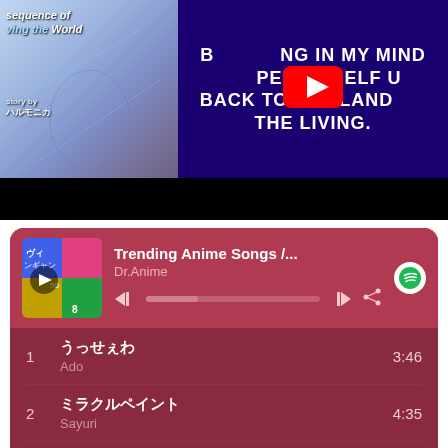[Figure (screenshot): YouTube video player showing manga book cover on left side and dark blue background with white lyrics text on right. Lyrics partially visible: 'B...NG IN MY MIND, ...PED MYSELF U[P], BACK TO THE LAND OF THE LIVING.']
[Figure (screenshot): Spotify music player showing 'Trending Anime Songs /...' playlist by Dr.Anime. Track list: 1. [Japanese title] - Ado 3:46, 2. [Japanese title] - Sayuri 4:35, 3. [Japanese title] - Creamy Nuts 2:52]